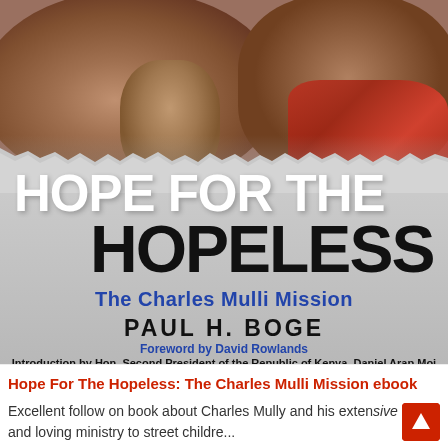[Figure (photo): Book cover of 'Hope For The Hopeless: The Charles Mulli Mission' by Paul H. Boge. Top portion shows close-up photo of African children's faces. Below the torn paper edge is large white bold title text 'HOPE FOR THE' followed by dark bold 'HOPELESS', subtitle 'The Charles Mulli Mission' in blue, author name 'PAUL H. BOGE' in black, foreword credit 'Foreword by David Rowlands' in blue, and introduction credit 'Introduction by Hon. Second President of the Republic of Kenya, Daniel Arap Moi' in black.]
Hope For The Hopeless: The Charles Mulli Mission ebook
Excellent follow on book about Charles Mully and his extensive and loving ministry to street childre...